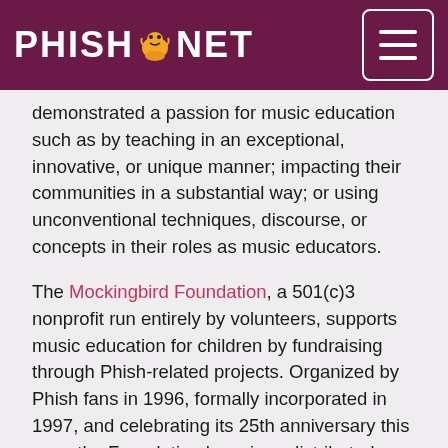PHISH.NET
demonstrated a passion for music education such as by teaching in an exceptional, innovative, or unique manner; impacting their communities in a substantial way; or using unconventional techniques, discourse, or concepts in their roles as music educators.
The Mockingbird Foundation, a 501(c)3 nonprofit run entirely by volunteers, supports music education for children by fundraising through Phish-related projects. Organized by Phish fans in 1996, formally incorporated in 1997, and celebrating its 25th anniversary this year, the Foundation has since distributed over $1,800,000 through 492 grants in all 50 states.
The Foundation is also the leading provider of historical information about Phish and its music, having cultivated intellectual property through www.phish.net since 1994 and having published three editions of the popular books The